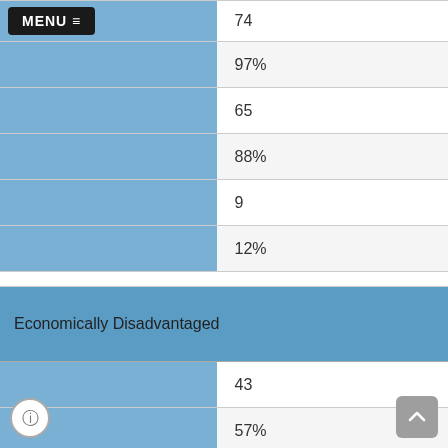| (menu) | 74 |
|  | 97% |
|  | 65 |
|  | 88% |
|  | 9 |
|  | 12% |
| Economically Disadvantaged |  |
|  | 43 |
|  | 57% |
|  | 39 |
|  | 91% |
|  | 4 |